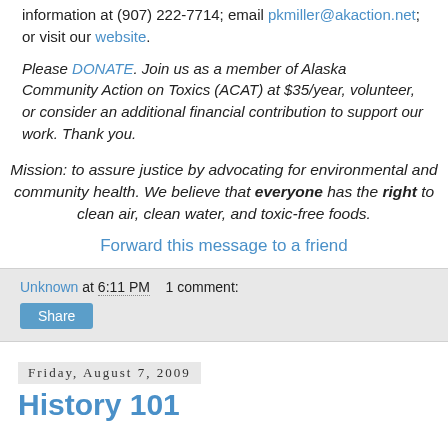Please contact Alaska Community Action on Toxics for more information at (907) 222-7714; email pkmiller@akaction.net; or visit our website.
Please DONATE. Join us as a member of Alaska Community Action on Toxics (ACAT) at $35/year, volunteer, or consider an additional financial contribution to support our work. Thank you.
Mission: to assure justice by advocating for environmental and community health. We believe that everyone has the right to clean air, clean water, and toxic-free foods.
Forward this message to a friend
Unknown at 6:11 PM   1 comment:
Share
Friday, August 7, 2009
History 101